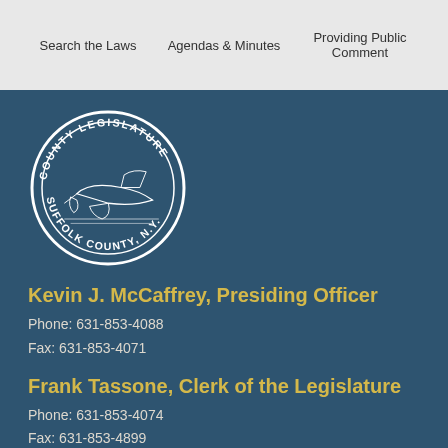Search the Laws   Agendas & Minutes   Providing Public Comment
[Figure (logo): Suffolk County Legislature circular seal with plow illustration and text 'County Legislature Suffolk County, N.Y.']
Kevin J. McCaffrey, Presiding Officer
Phone: 631-853-4088
Fax: 631-853-4071
Frank Tassone, Clerk of the Legislature
Phone: 631-853-4074
Fax: 631-853-4899